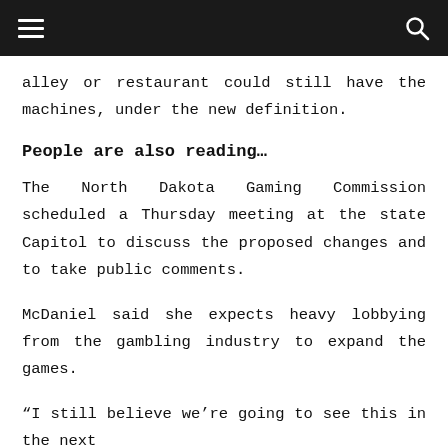alley or restaurant could still have the machines, under the new definition.
People are also reading…
The North Dakota Gaming Commission scheduled a Thursday meeting at the state Capitol to discuss the proposed changes and to take public comments.
McDaniel said she expects heavy lobbying from the gambling industry to expand the games.
“I still believe we’re going to see this in the next